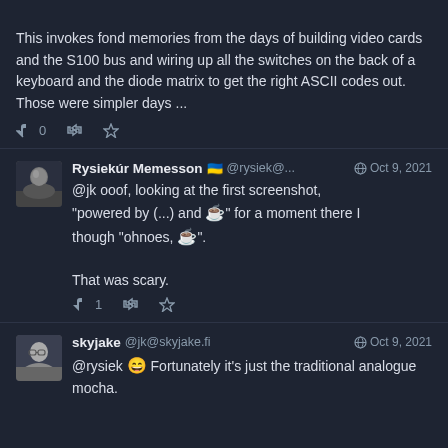This invokes fond memories from the days of building video cards and the S100 bus and wiring up all the switches on the back of a keyboard and the diode matrix to get the right ASCII codes out. Those were simpler days ...
Actions: 0 retweets, star
Rysiekúr Memesson 🇺🇦 @rysiek@... Oct 9, 2021
@jk ooof, looking at the first screenshot, "powered by (...) and ☕" for a moment there I though "ohnoes, ☕".

That was scary.
Actions: 1 retweet, star
skyjake @jk@skyjake.fi Oct 9, 2021
@rysiek 😄 Fortunately it's just the traditional analogue mocha.